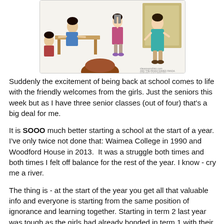[Figure (illustration): Comic strip illustration showing a classroom scene with students at desks and a teacher standing, in a cartoon style reminiscent of Peanuts/school comics.]
Suddenly the excitement of being back at school comes to life with the friendly welcomes from the girls. Just the seniors this week but as I have three senior classes (out of four) that's a big deal for me.
It is SOOO much better starting a school at the start of a year. I've only twice not done that: Waimea College in 1990 and Woodford House in 2013.  It was a struggle both times and both times I felt off balance for the rest of the year. I know - cry me a river.
The thing is - at the start of the year you get all that valuable info and everyone is starting from the same position of ignorance and learning together. Starting in term 2 last year was tough as the girls had already bonded in term 1 with their form teacher. I know - cry me a river.
This year the form class feels more natural, more mine. It